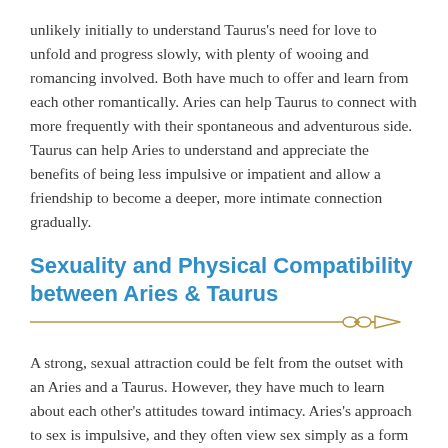unlikely initially to understand Taurus's need for love to unfold and progress slowly, with plenty of wooing and romancing involved. Both have much to offer and learn from each other romantically. Aries can help Taurus to connect with more frequently with their spontaneous and adventurous side. Taurus can help Aries to understand and appreciate the benefits of being less impulsive or impatient and allow a friendship to become a deeper, more intimate connection gradually.
Sexuality and Physical Compatibility between Aries & Taurus
[Figure (illustration): Decorative horizontal divider line in gold/tan color with a decorative diamond/loop ornament and arrow pointing right at the end]
A strong, sexual attraction could be felt from the outset with an Aries and a Taurus. However, they have much to learn about each other's attitudes toward intimacy. Aries's approach to sex is impulsive, and they often view sex simply as a form of mental and physical release. As far as Aries is concerned, foreplay only delays the ultimate goal of a climax. Taurus, on the other hand, views sex as an art